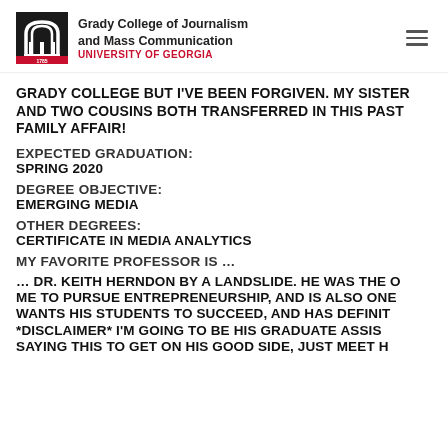Grady College of Journalism and Mass Communication UNIVERSITY OF GEORGIA
GRADY COLLEGE BUT I'VE BEEN FORGIVEN. MY SISTER AND TWO COUSINS BOTH TRANSFERRED IN THIS PAST … FAMILY AFFAIR!
EXPECTED GRADUATION:
SPRING 2020
DEGREE OBJECTIVE:
EMERGING MEDIA
OTHER DEGREES:
CERTIFICATE IN MEDIA ANALYTICS
MY FAVORITE PROFESSOR IS …
… DR. KEITH HERNDON BY A LANDSLIDE. HE WAS THE O… ME TO PURSUE ENTREPRENEURSHIP, AND IS ALSO ONE… WANTS HIS STUDENTS TO SUCCEED, AND HAS DEFINIT… *DISCLAIMER* I'M GOING TO BE HIS GRADUATE ASSIST… SAYING THIS TO GET ON HIS GOOD SIDE, JUST MEET H…